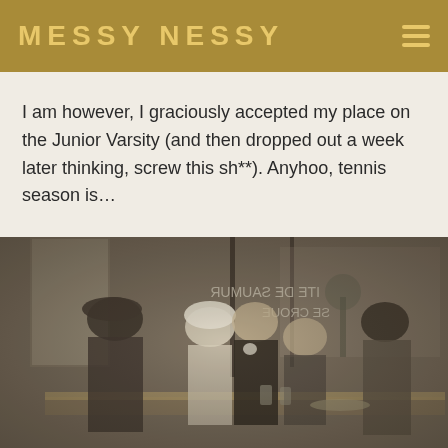MESSY NESSY
I am however, I graciously accepted my place on the Junior Varsity (and then dropped out a week later thinking, screw this sh**). Anyhoo, tennis season is…
[Figure (photo): Vintage black and white photograph of people gathered at a bar counter. A man in a beret and coat stands on the left. A woman in a white head covering leans in toward a man in a dark suit with a boutonniere. Another man is seated smiling. A woman with dark hair stands behind the bar facing them. A mirror in the background reflects signage reading 'ITE DE SAUMUR' and 'SE CROUE'.]